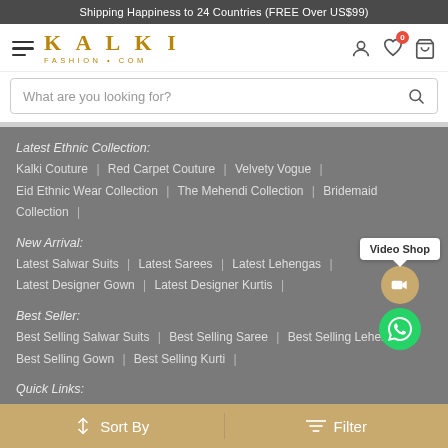Shipping Happiness to 24 Countries (FREE Over US$99)
[Figure (logo): Kalki Fashion.com logo with hamburger menu on left and user/wishlist/cart icons on right]
What are you looking for?
Latest Ethnic Collection:
Kalki Couture | Red Carpet Couture | Velvety Vogue |
Eid Ethnic Wear Collection | The Mehendi Collection | Bridemaid Collection |
New Arrival:
Latest Salwar Suits | Latest Sarees | Latest Lehengas |
Latest Designer Gown | Latest Designer Kurtis |
Best Seller:
Best Selling Salwar Suits | Best Selling Saree | Best Selling Lehenga
Best Selling Gown | Best Selling Kurti |
Quick Links:
Sort By   Filter